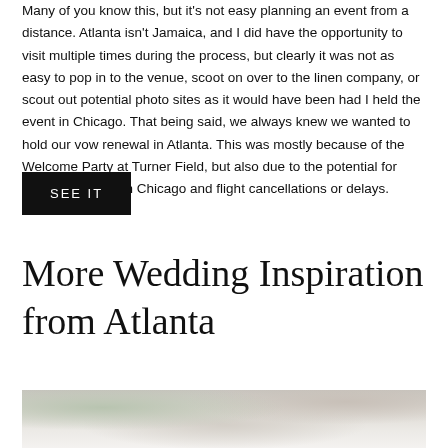Many of you know this, but it's not easy planning an event from a distance. Atlanta isn't Jamaica, and I did have the opportunity to visit multiple times during the process, but clearly it was not as easy to pop in to the venue, scoot on over to the linen company, or scout out potential photo sites as it would have been had I held the event in Chicago. That being said, we always knew we wanted to hold our vow renewal in Atlanta. This was mostly because of the Welcome Party at Turner Field, but also due to the potential for horrible weather in Chicago and flight cancellations or delays.
SEE IT
More Wedding Inspiration from Atlanta
[Figure (photo): Wedding-themed photo showing floral arrangements and bridal details in soft, light tones]